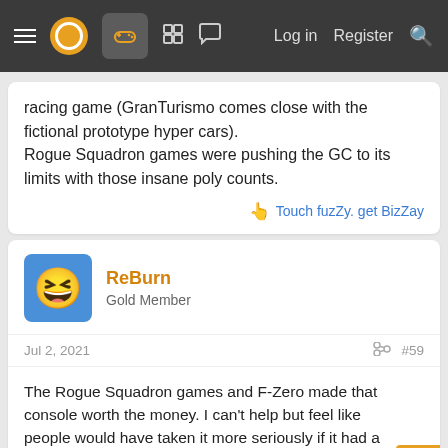Navigation bar with menu, logo, controller icon, forum icons, Log in, Register, Search
racing game (GranTurismo comes close with the fictional prototype hyper cars).
Rogue Squadron games were pushing the GC to its limits with those insane poly counts.
Touch fuzZy. get BizZay
ReBurn
Gold Member
Jul 2, 2021  #59
The Rogue Squadron games and F-Zero made that console worth the money. I can't help but feel like people would have taken it more seriously if it had a more mainstream controller and they would have left that stupid handle off. Lack of DVD is probably what really killed it.